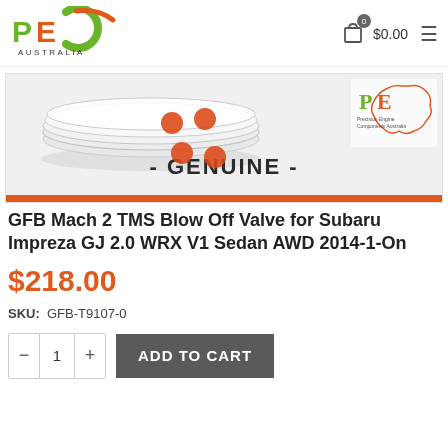[Figure (logo): PEC Australia logo — green and orange stylized PE letters with Australia text below]
[Figure (screenshot): Shopping cart icon with badge showing 0 and price $0.00, plus hamburger menu icon]
[Figure (photo): Product image area showing a transparent/glass disc component with GENUINE label and Precision Engine Components Australia PE logo inset, orange bar at bottom]
GFB Mach 2 TMS Blow Off Valve for Subaru Impreza GJ 2.0 WRX V1 Sedan AWD 2014-1-On
$218.00
SKU:  GFB-T9107-0
[Figure (screenshot): Quantity selector showing minus button, 1, plus button, and ADD TO CART dark grey button]